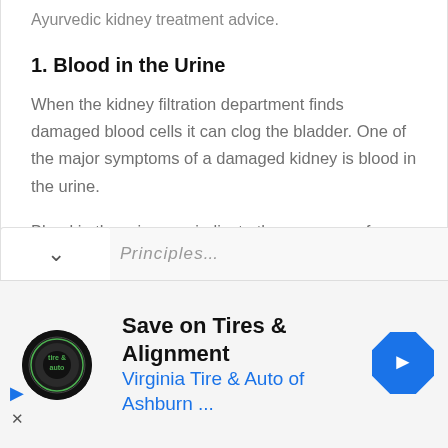Ayurvedic kidney treatment advice.
1. Blood in the Urine
When the kidney filtration department finds damaged blood cells it can clog the bladder. One of the major symptoms of a damaged kidney is blood in the urine.
Blood in the urine can indicate the presence of an infection, tissue or stones.
[Figure (other): Advertisement banner: Virginia Tire & Auto of Ashburn with logo and navigation arrow icon]
Save on Tires & Alignment
Virginia Tire & Auto of Ashburn ...